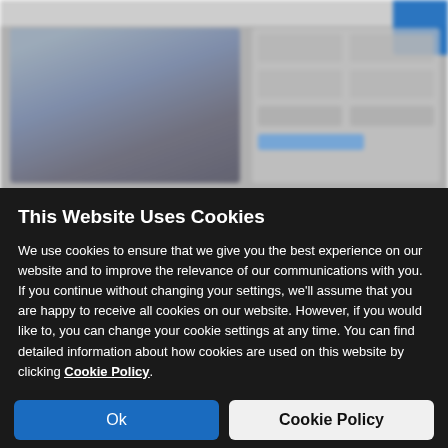[Figure (screenshot): Blurred car listing website background showing a silver/grey car photo on the left and a partially visible info panel with blurred text on the right, with a blue corner element top right.]
This Website Uses Cookies
We use cookies to ensure that we give you the best experience on our website and to improve the relevance of our communications with you. If you continue without changing your settings, we'll assume that you are happy to receive all cookies on our website. However, if you would like to, you can change your cookie settings at any time. You can find detailed information about how cookies are used on this website by clicking Cookie Policy.
Ok
Cookie Policy